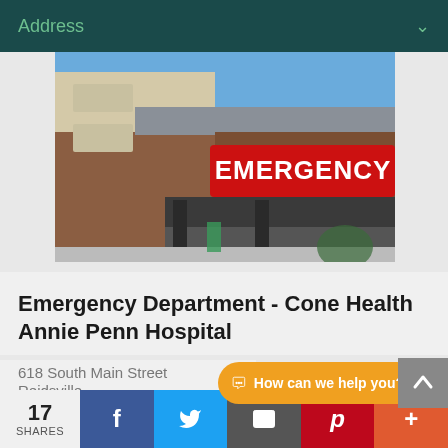Address
[Figure (photo): Emergency Department entrance of Cone Health Annie Penn Hospital showing a red EMERGENCY sign above the entrance canopy, brick building exterior, blue sky]
Emergency Department - Cone Health Annie Penn Hospital
618 South Main Street
Reidsville
Get Driving Directions
How can we help you?
17
SHARES